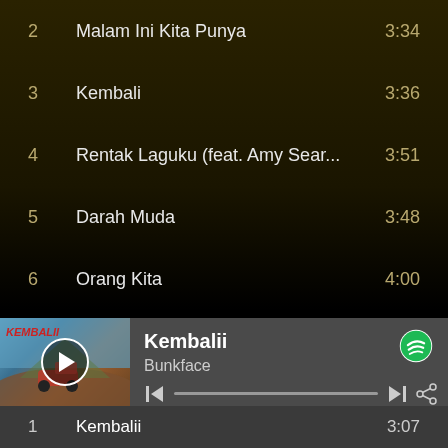2  Malam Ini Kita Punya  3:34
3  Kembali  3:36
4  Rentak Laguku (feat. Amy Sear...  3:51
5  Darah Muda  3:48
6  Orang Kita  4:00
7  Goyang  3:46
8  Anugerah Syawal  3:09
[Figure (screenshot): Spotify music player widget showing Kembalii by Bunkface with album art, play button, progress bar, skip and share controls, and Spotify logo]
1  Kembalii  3:07